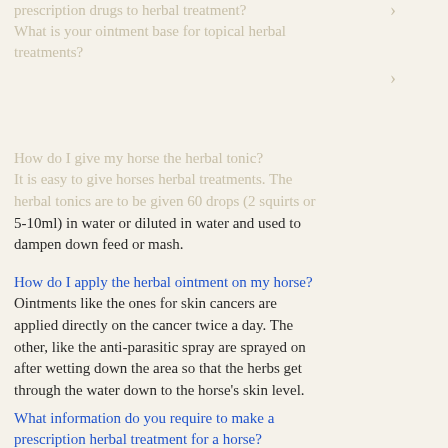prescription drugs to herbal treatment? What is your ointment base for topical herbal treatments?
How do I give my horse the herbal tonic? It is easy to give horses herbal treatments. The herbal tonics are to be given 60 drops (2 squirts or 5-10ml) in water or diluted in water and used to dampen down feed or mash.
How do I apply the herbal ointment on my horse? Ointments like the ones for skin cancers are applied directly on the cancer twice a day. The other, like the anti-parasitic spray are sprayed on after wetting down the area so that the herbs get through the water down to the horse's skin level.
What information do you require to make a prescription herbal treatment for a horse?